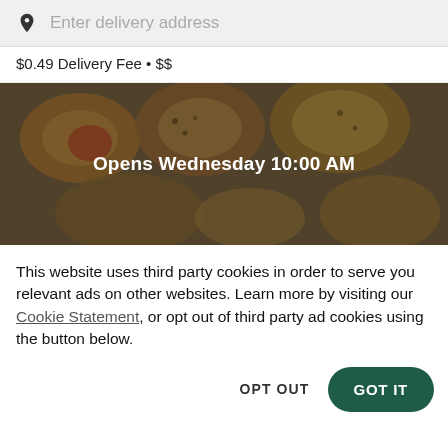Enter delivery address
$0.49 Delivery Fee • $$
[Figure (photo): Restaurant food photo showing dishes, overlaid with dark semi-transparent layer and text 'Opens Wednesday 10:00 AM']
This website uses third party cookies in order to serve you relevant ads on other websites. Learn more by visiting our Cookie Statement, or opt out of third party ad cookies using the button below.
OPT OUT
GOT IT